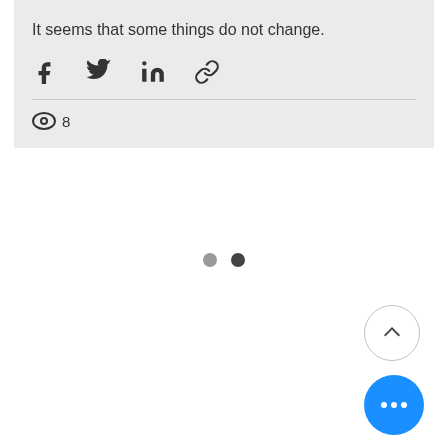It seems that some things do not change.
[Figure (screenshot): Social share icons: Facebook (f), Twitter bird, LinkedIn (in), and a chain/link icon]
8 views
[Figure (screenshot): Pagination dots: two circles, one gray and one dark]
[Figure (screenshot): Scroll-to-top circular button with upward chevron (^) icon]
[Figure (screenshot): Blue circular button with three horizontal dots (more options)]